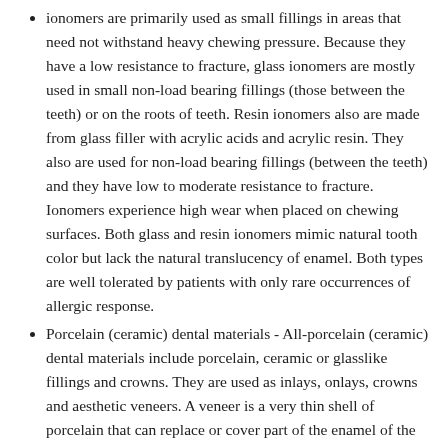ionomers are primarily used as small fillings in areas that need not withstand heavy chewing pressure. Because they have a low resistance to fracture, glass ionomers are mostly used in small non-load bearing fillings (those between the teeth) or on the roots of teeth. Resin ionomers also are made from glass filler with acrylic acids and acrylic resin. They also are used for non-load bearing fillings (between the teeth) and they have low to moderate resistance to fracture. Ionomers experience high wear when placed on chewing surfaces. Both glass and resin ionomers mimic natural tooth color but lack the natural translucency of enamel. Both types are well tolerated by patients with only rare occurrences of allergic response.
Porcelain (ceramic) dental materials - All-porcelain (ceramic) dental materials include porcelain, ceramic or glasslike fillings and crowns. They are used as inlays, onlays, crowns and aesthetic veneers. A veneer is a very thin shell of porcelain that can replace or cover part of the enamel of the tooth. All-porcelain (ceramic) restorations are particularly desirable because their color and translucency mimic natural tooth enamel. All-porcelain restorations require a minimum of two visits and possibly more. The restorations are prone to fracture when placed under tension or on impact. Their